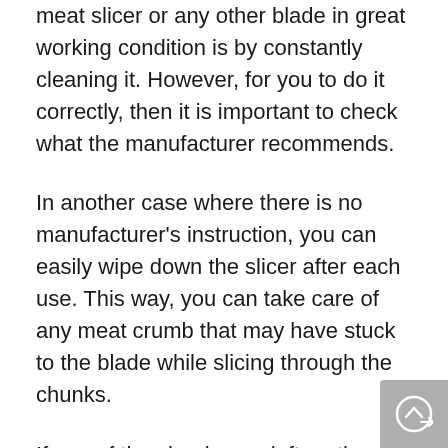meat slicer or any other blade in great working condition is by constantly cleaning it. However, for you to do it correctly, then it is important to check what the manufacturer recommends.
In another case where there is no manufacturer's instruction, you can easily wipe down the slicer after each use. This way, you can take care of any meat crumb that may have stuck to the blade while slicing through the chunks.
If any of the chunks are left on the blade for a long time, then it may cause it to get blunt after a while. In some cases, the residue could leave the blades susceptible to the effects of corrosion, meaning it gets bad easily.